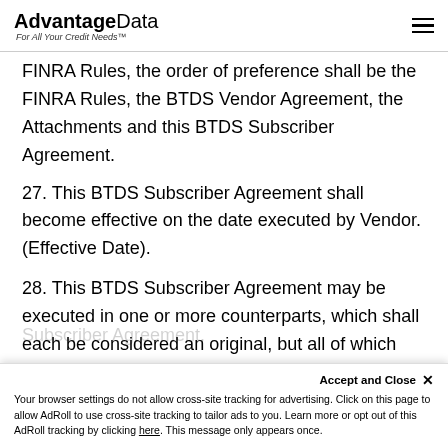AdvantageData — For All Your Credit Needs™
FINRA Rules, the order of preference shall be the FINRA Rules, the BTDS Vendor Agreement, the Attachments and this BTDS Subscriber Agreement.
27. This BTDS Subscriber Agreement shall become effective on the date executed by Vendor. (Effective Date).
28. This BTDS Subscriber Agreement may be executed in one or more counterparts, which shall each be considered an original, but all of which together shall constitute one and the same BTDS Subscriber Agreement.
Accept and Close ✕ Your browser settings do not allow cross-site tracking for advertising. Click on this page to allow AdRoll to use cross-site tracking to tailor ads to you. Learn more or opt out of this AdRoll tracking by clicking here. This message only appears once.